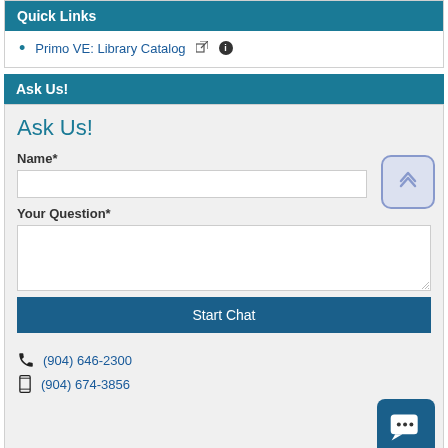Quick Links
Primo VE: Library Catalog
Ask Us!
Ask Us!
Name*
Your Question*
Start Chat
(904) 646-2300
(904) 674-3856